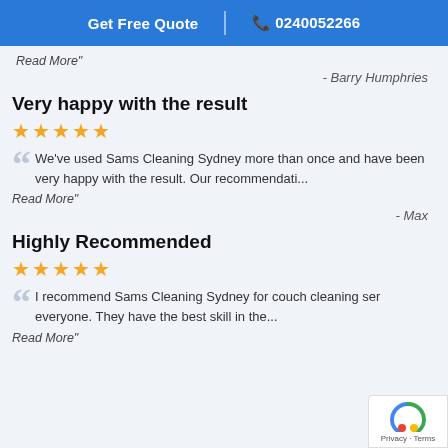Get Free Quote | 0240052266
Read More"
- Barry Humphries
Very happy with the result
★★★★★
We've used Sams Cleaning Sydney more than once and have been very happy with the result. Our recommendati...
Read More"
- Max
Highly Recommended
★★★★★
I recommend Sams Cleaning Sydney for couch cleaning ser everyone. They have the best skill in the...
Read More"